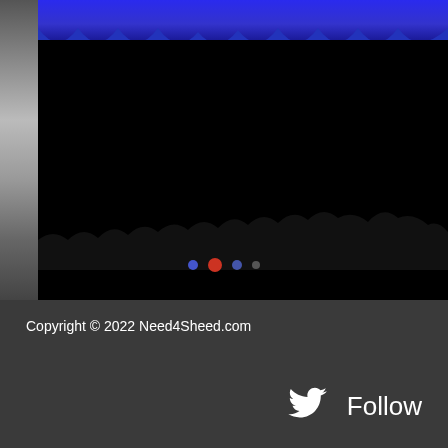[Figure (photo): Dark image with blue bar at top and crowd silhouette, navigation dots overlay showing one red active dot and three smaller blue/grey dots]
Copyright © 2022 Need4Sheed.com
[Figure (logo): Twitter bird logo icon in white]
Follow